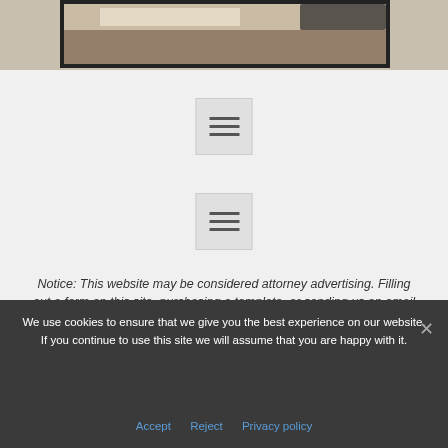[Figure (photo): Partial view of a desk with documents or legal papers, brown tones, cropped at top]
[Figure (other): Hamburger menu icon button, gray background]
[Figure (other): Hamburger menu icon button, gray background]
Notice: This website may be considered attorney advertising. Filling out a form on this site, purchasing a template, or sending us an email does not establish an attorney-client relationship, which only happens upon...
We use cookies to ensure that we give you the best experience on our website. If you continue to use this site we will assume that you are happy with it.
Accept   Reject   Privacy policy